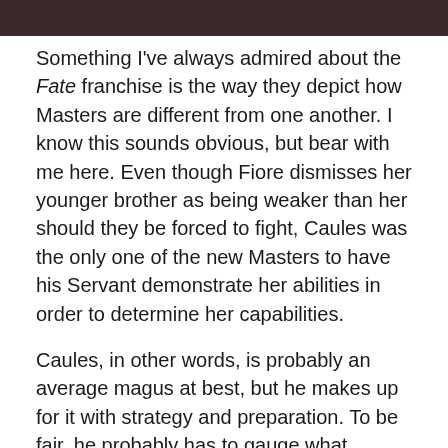[Figure (photo): Partial image strip at the top of the page showing a dark/brownish scene, cropped]
Something I've always admired about the Fate franchise is the way they depict how Masters are different from one another. I know this sounds obvious, but bear with me here. Even though Fiore dismisses her younger brother as being weaker than her should they be forced to fight, Caules was the only one of the new Masters to have his Servant demonstrate her abilities in order to determine her capabilities.
Caules, in other words, is probably an average magus at best, but he makes up for it with strategy and preparation. To be fair, he probably has to gauge what Frankenstein is capable of doing considering that she's a Berserker, which is the most limited Servant class due to inherent insanity. Nevertheless, he's my favorite kind of character in these sorts of battles.